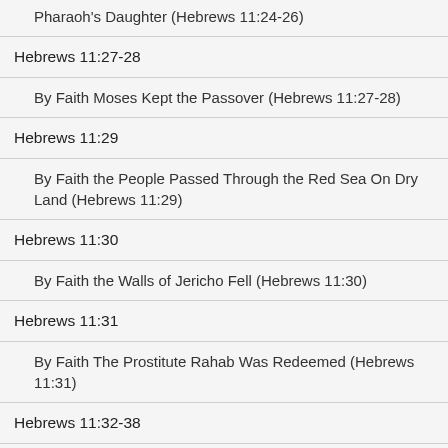Pharaoh's Daughter (Hebrews 11:24-26)
Hebrews 11:27-28
By Faith Moses Kept the Passover (Hebrews 11:27-28)
Hebrews 11:29
By Faith the People Passed Through the Red Sea On Dry Land (Hebrews 11:29)
Hebrews 11:30
By Faith the Walls of Jericho Fell (Hebrews 11:30)
Hebrews 11:31
By Faith The Prostitute Rahab Was Redeemed (Hebrews 11:31)
Hebrews 11:32-38